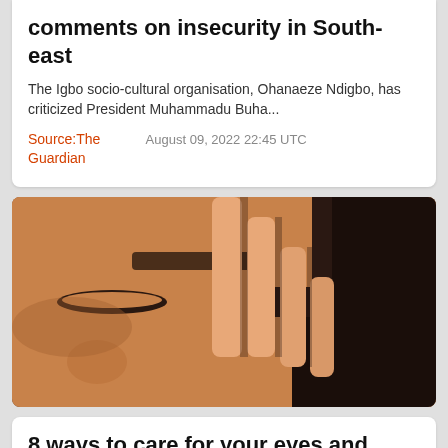comments on insecurity in South-east
The Igbo socio-cultural organisation, Ohanaeze Ndigbo, has criticized President Muhammadu Buha...
Source: The Guardian
August 09, 2022 22:45 UTC
[Figure (photo): Close-up photograph of a person with dark skin touching their face near the eye area with their hand, eyes closed, against a dark background]
8 ways to care for your eyes and...